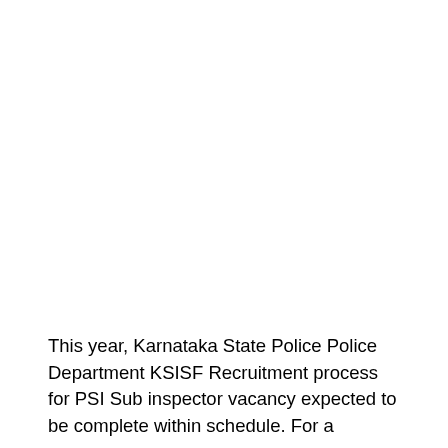This year, Karnataka State Police Police Department KSISF Recruitment process for PSI Sub inspector vacancy expected to be complete within schedule. For a